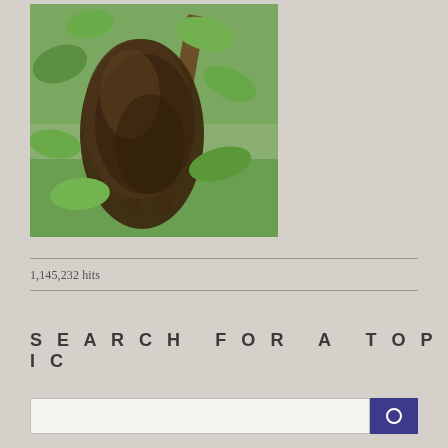[Figure (photo): A large bee swarm cluster hanging from a tree branch, with green leaves and grass visible in the background.]
1,145,232 hits
SEARCH FOR A TOPIC